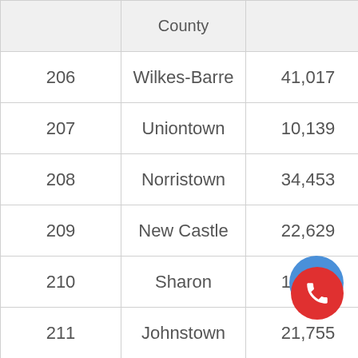|  | County |  |  |  |
| --- | --- | --- | --- | --- |
| 206 | Wilkes-Barre | 41,017 | 436 | 3,5… |
| 207 | Uniontown | 10,139 | 404 | 4,6… |
| 208 | Norristown | 34,453 | 746 | 2,5… |
| 209 | New Castle | 22,629 | 508 | 3,8… |
| 210 | Sharon | 13,698 | 613 | 3,7… |
| 211 | Johnstown | 21,755 | 575 | 3,7… |
| 212 | Coatesville | 13,141 | 9… | 2,5… |
| 213 | Allentown | 118,710 | 515 | 3,2… |